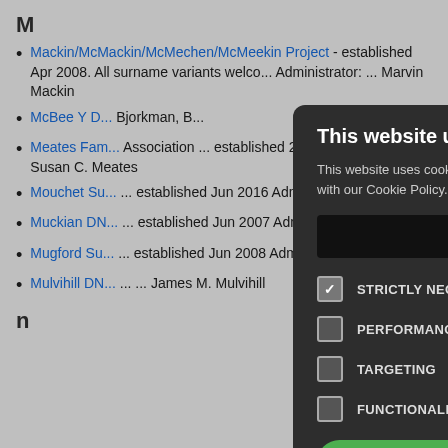M
Mackin/McMackin/McMechen/McMeekin Project - established Apr 2008. All surname variants welcome. Administrator: Marvin Mackin
McBee Y D... Bjorkman, B...
Meates Fa... Association ... established 2001 Administrator: Susan C. Meates
Mouchet Su... established Jun 2016 Administrator: ...
Muckian DN... established Jun 2001 Administrator: ... Muckian
Mugford Su... established Jun 2008 Administrator: ...
Mulvihill DN... ... James M. Mulvihill
n
[Figure (screenshot): Cookie consent modal dialog on dark background. Title: 'This website uses cookies'. Description text about cookie policy. A black 'Read more' button. Four checkbox options: STRICTLY NECESSARY (checked), PERFORMANCE (unchecked), TARGETING (unchecked), FUNCTIONALITY (unchecked). Bottom buttons: ACCEPT ALL (green) and DECLINE ALL (outlined). SHOW DETAILS link with gear icon. X close button in top right.]